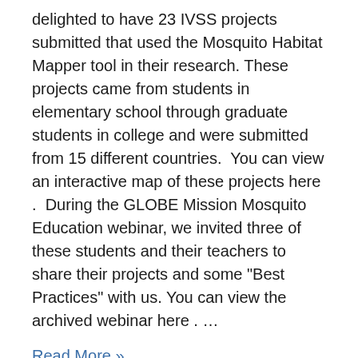delighted to have 23 IVSS projects submitted that used the Mosquito Habitat Mapper tool in their research. These projects came from students in elementary school through graduate students in college and were submitted from 15 different countries.  You can view an interactive map of these projects here .  During the GLOBE Mission Mosquito Education webinar, we invited three of these students and their teachers to share their projects and some "Best Practices" with us. You can view the archived webinar here . ...
Read More »
Posted in: Curriculum: STEM   EDUCATION RESEARCH   LANGUAGE CULTURE AND ARTS   SCIENCE AND MATH   TECHNOLOGY   Event Topics: CAMPAIGNS AND PROJECTS (IOPS, ETC)   SCIENCE SYMPOSIA AND FAIRS   Field Campaigns: WATERSHEDS   SEASONS AND BIOMES   EL NIÑO   SMAP   GPM   GLOBE Working